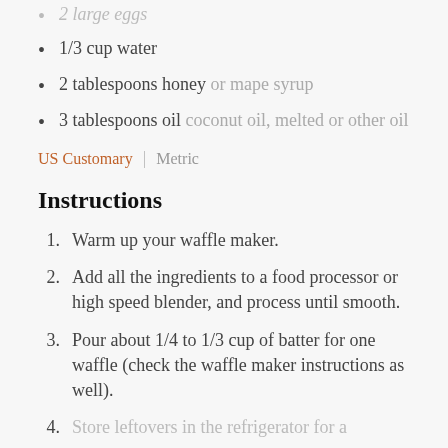2 large eggs
1/3 cup water
2 tablespoons honey or mape syrup
3 tablespoons oil coconut oil, melted or other oil
US Customary | Metric
Instructions
1. Warm up your waffle maker.
2. Add all the ingredients to a food processor or high speed blender, and process until smooth.
3. Pour about 1/4 to 1/3 cup of batter for one waffle (check the waffle maker instructions as well).
4. Store leftovers in the refrigerator for a